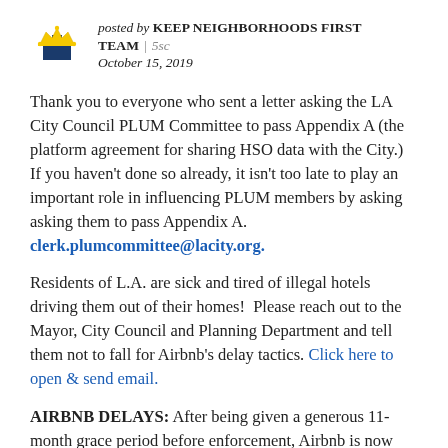posted by KEEP NEIGHBORHOODS FIRST TEAM | 5sc
October 15, 2019
Thank you to everyone who sent a letter asking the LA City Council PLUM Committee to pass Appendix A (the platform agreement for sharing HSO data with the City.) If you haven't done so already, it isn't too late to play an important role in influencing PLUM members by asking asking them to pass Appendix A. clerk.plumcommittee@lacity.org.
Residents of L.A. are sick and tired of illegal hotels driving them out of their homes!  Please reach out to the Mayor, City Council and Planning Department and tell them not to fall for Airbnb's delay tactics. Click here to open & send email.
AIRBNB DELAYS: After being given a generous 11-month grace period before enforcement, Airbnb is now